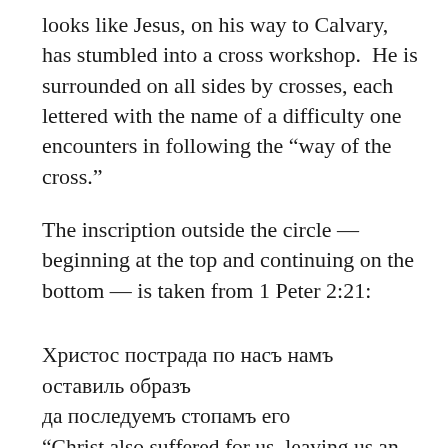looks like Jesus, on his way to Calvary, has stumbled into a cross workshop.  He is surrounded on all sides by crosses, each lettered with the name of a difficulty one encounters in following the “way of the cross.”
The inscription outside the circle — beginning at the top and continuing on the bottom — is taken from 1 Peter 2:21:
Христос пострада по насъ намъ оставиль образъ
да последуемъ стопамъ его
“Christ also suffered for us, leaving us an example, that you should follow his steps.”